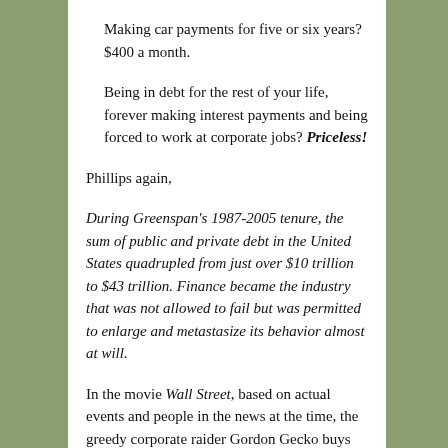Making car payments for five or six years? $400 a month.
Being in debt for the rest of your life, forever making interest payments and being forced to work at corporate jobs? Priceless!
Phillips again,
During Greenspan’s 1987-2005 tenure, the sum of public and private debt in the United States quadrupled from just over $10 trillion to $43 trillion. Finance became the industry that was not allowed to fail but was permitted to enlarge and metastasize its behavior almost at will.
In the movie Wall Street, based on actual events and people in the news at the time, the greedy corporate raider Gordon Gecko buys companies, chops them up, steals the workers’ pensions, destroys people's lives and their communities, etc. and pockets the profits. Gecko